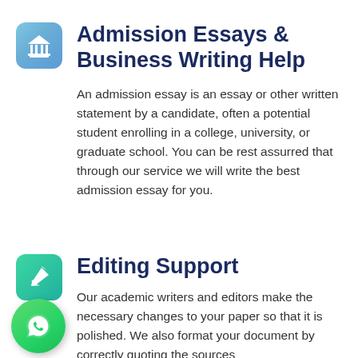[Figure (illustration): Blue rounded square icon with white classical building/bank/university symbol (columns and pediment)]
Admission Essays & Business Writing Help
An admission essay is an essay or other written statement by a candidate, often a potential student enrolling in a college, university, or graduate school. You can be rest assurred that through our service we will write the best admission essay for you.
[Figure (illustration): Green rounded square icon with white pencil/edit symbol]
Editing Support
Our academic writers and editors make the necessary changes to your paper so that it is polished. We also format your document by correctly quoting the sources
[Figure (illustration): WhatsApp floating button - green circle with white phone handset icon]